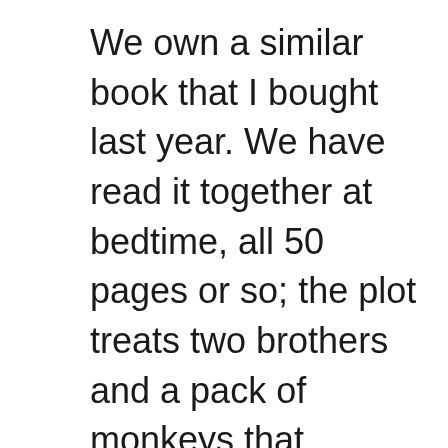We own a similar book that I bought last year. We have read it together at bedtime, all 50 pages or so; the plot treats two brothers and a pack of monkeys that connives against them to burn down their family's entire cornfield, then kidnaps the smaller brother so that the older brother gets in a heap of trouble with his parents for losing his younger brother in the burnt cornfield. The book goes on to describe how the monkeys threaten to torture and possibly kill the younger brother they have kidnapped, and who is now up in a tree. The family is